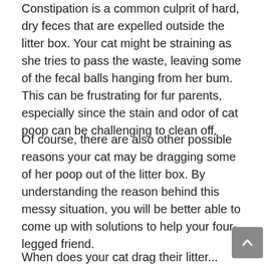Constipation is a common culprit of hard, dry feces that are expelled outside the litter box. Your cat might be straining as she tries to pass the waste, leaving some of the fecal balls hanging from her bum. This can be frustrating for fur parents, especially since the stain and odor of cat poop can be challenging to clean off.
Of course, there are also other possible reasons your cat may be dragging some of her poop out of the litter box. By understanding the reason behind this messy situation, you will be better able to come up with solutions to help your four-legged friend.
When does your cat drag their litter...